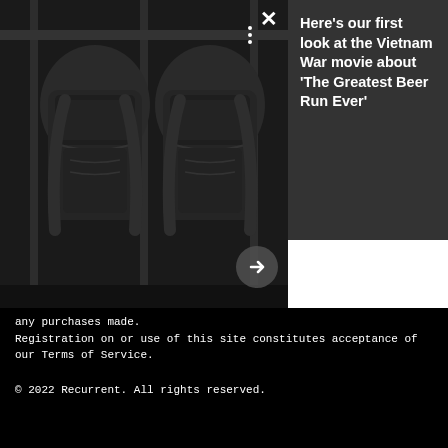[Figure (photo): Two dark military/tactical backpacks hanging on a rack against a dark background, shown in black and white]
Here's our first look at the Vietnam War movie about 'The Greatest Beer Run Ever'
any purchases made.
Registration on or use of this site constitutes acceptance of our Terms of Service.
© 2022 Recurrent. All rights reserved.
[Figure (infographic): Advertisement banner with play icon, World Market logo, green checkmarks listing: In-store shopping, Curbside pickup, Delivery, and Google Maps icon]
✓ In-store shopping
✓ Curbside pickup ✓ Delivery